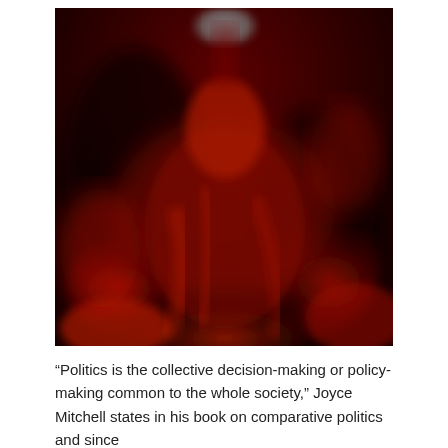[Figure (photo): A blurry, dark red abstract image showing what appears to be a figure or person draped in red fabric or clothing, with a dark background. The image is heavily blurred and monochromatic in deep reds and blacks.]
“Politics is the collective decision-making or policy-making common to the whole society,” Joyce Mitchell states in his book on comparative politics and since